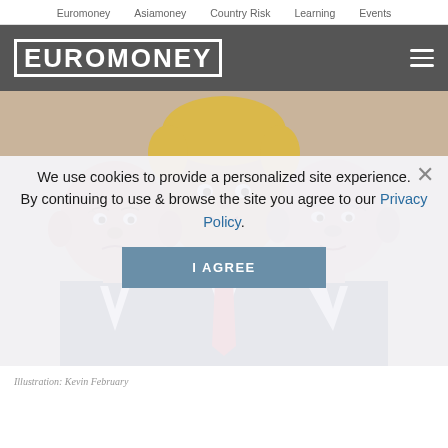Euromoney  Asiamoney  Country Risk  Learning  Events
EUROMONEY
[Figure (illustration): Caricature illustration of three suited figures: a bald man on the left, a tall blond man in the center wearing a red tie, and a bald man on the right, all depicted in cartoon style.]
We use cookies to provide a personalized site experience.
By continuing to use & browse the site you agree to our Privacy Policy.
Illustration: Kevin February